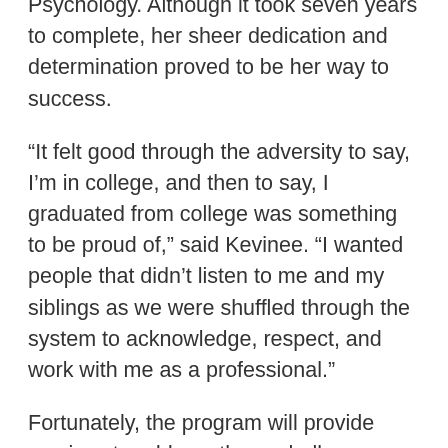Psychology. Although it took seven years to complete, her sheer dedication and determination proved to be her way to success.
“It felt good through the adversity to say, I’m in college, and then to say, I graduated from college was something to be proud of,” said Kevinee. “I wanted people that didn’t listen to me and my siblings as we were shuffled through the system to acknowledge, respect, and work with me as a professional.”
Fortunately, the program will provide services to address these challenges. The services include Foster Scholars Campus Liaisons on each of Tri-C’s four campuses to